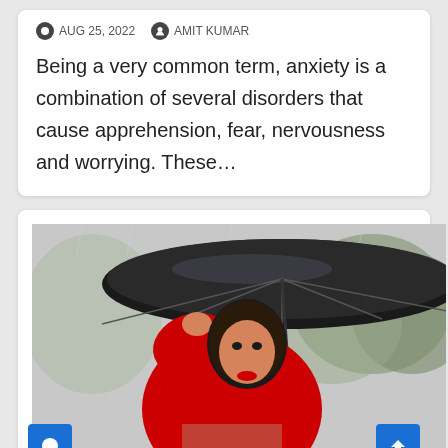AUG 25, 2022  AMIT KUMAR
Being a very common term, anxiety is a combination of several disorders that cause apprehension, fear, nervousness and worrying. These…
[Figure (photo): Woman in red dress holding a black umbrella in the rain, with a desaturated background of trees]